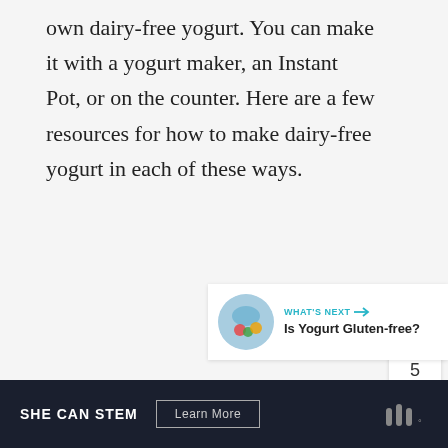own dairy-free yogurt. You can make it with a yogurt maker, an Instant Pot, or on the counter. Here are a few resources for how to make dairy-free yogurt in each of these ways.
[Figure (infographic): Social sharing sidebar with heart/like button showing count of 5, and a share button]
[Figure (infographic): What's Next widget showing a thumbnail and title: Is Yogurt Gluten-free?]
SHE CAN STEM  Learn More